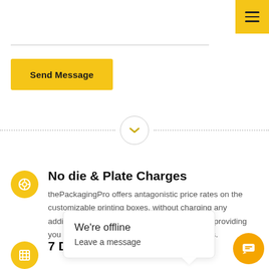[Figure (screenshot): Yellow hamburger menu button in top right corner]
[Figure (other): Horizontal separator line]
Send Message
[Figure (other): Dotted divider line with chevron down circle button]
No die & Plate Charges
thePackagingPro offers antagonistic price rates on the customizable printing boxes, without charging any additional cost for die, or cutting plate, hereby providing you with the best quality products and services.
7 Days turn
[Figure (other): We're offline chat popup with Leave a message text and orange chat button]